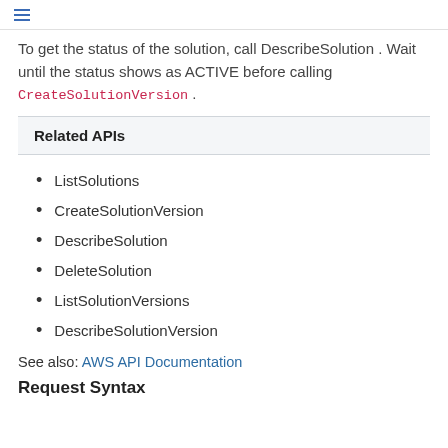To get the status of the solution, call DescribeSolution . Wait until the status shows as ACTIVE before calling CreateSolutionVersion .
Related APIs
ListSolutions
CreateSolutionVersion
DescribeSolution
DeleteSolution
ListSolutionVersions
DescribeSolutionVersion
See also: AWS API Documentation
Request Syntax